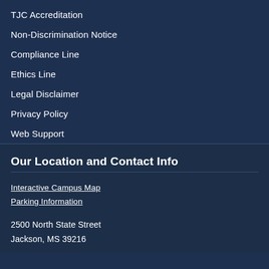TJC Accreditation
Non-Discrimination Notice
Compliance Line
Ethics Line
Legal Disclaimer
Privacy Policy
Web Support
Our Location and Contact Info
Interactive Campus Map
Parking Information
2500 North State Street
Jackson, MS 39216